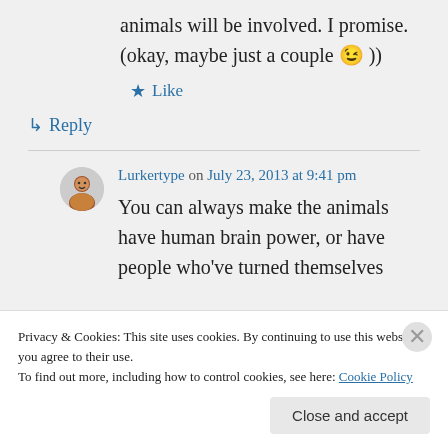animals will be involved. I promise. (okay, maybe just a couple 😉 ))
★ Like
↳ Reply
Lurkertype on July 23, 2013 at 9:41 pm
You can always make the animals have human brain power, or have people who've turned themselves
Privacy & Cookies: This site uses cookies. By continuing to use this website, you agree to their use.
To find out more, including how to control cookies, see here: Cookie Policy
Close and accept